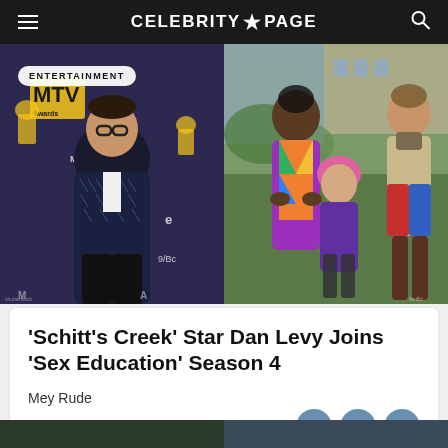CELEBRITY★PAGE
[Figure (photo): Left: Man in patterned dark jacket at MTV awards red carpet. Right: Three cast members from Sex Education TV show in colorful outfits.]
ENTERTAINMENT
'Schitt's Creek' Star Dan Levy Joins 'Sex Education' Season 4
Mey Rude
Aug 19, 2022